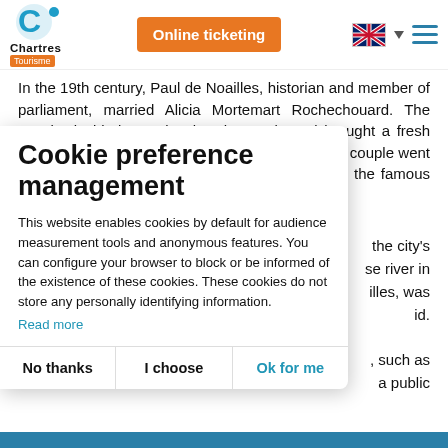[Figure (logo): Chartres Tourism logo with blue C icon and text 'Chartres' and 'Tourisme' badge]
[Figure (infographic): Orange 'Online ticketing' button, UK flag icon with dropdown arrow, and hamburger menu icon in teal]
In the 19th century, Paul de Noailles, historian and member of parliament, married Alicia Mortemart Rochechouard. The couple decided to redevelop the castle and brought a fresh lease of life to the city of Maintenon. The Noailles couple went on to receive many prestigious guests, including the famous Countess of Ségur.
Cookie preference management
This website enables cookies by default for audience measurement tools and anonymous features. You can configure your browser to block or be informed of the existence of these cookies. These cookies do not store any personally identifying information.
Read more
No thanks   I choose   Ok for me
the city's se river in illes, was id. , such as a  public